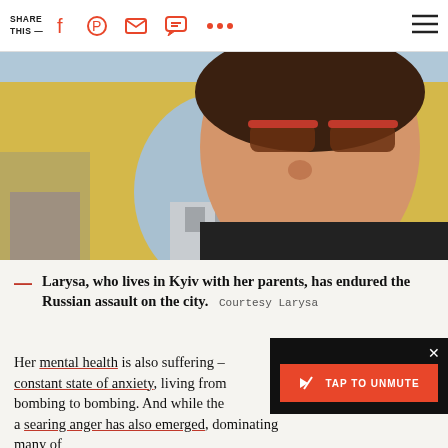SHARE THIS —
[Figure (photo): A woman wearing red sunglasses taking a selfie in front of a yellow arched building with blue sky visible through the arch]
— Larysa, who lives in Kyiv with her parents, has endured the Russian assault on the city.  Courtesy Larysa
Her mental health is also suffering – constant state of anxiety, living from bombing to bombing. And while the a searing anger has also emerged, dominating many of Larysa's emotions. In a number of her dispatches, she